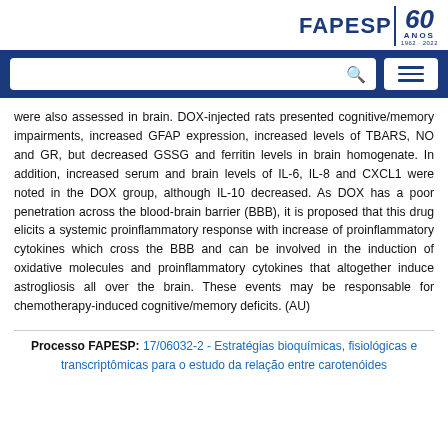[Figure (logo): FAPESP 60 Anos logo (1962-2022) in dark blue]
[Figure (screenshot): Navigation bar with search box and hamburger menu on dark blue background]
were also assessed in brain. DOX-injected rats presented cognitive/memory impairments, increased GFAP expression, increased levels of TBARS, NO and GR, but decreased GSSG and ferritin levels in brain homogenate. In addition, increased serum and brain levels of IL-6, IL-8 and CXCL1 were noted in the DOX group, although IL-10 decreased. As DOX has a poor penetration across the blood-brain barrier (BBB), it is proposed that this drug elicits a systemic proinflammatory response with increase of proinflammatory cytokines which cross the BBB and can be involved in the induction of oxidative molecules and proinflammatory cytokines that altogether induce astrogliosis all over the brain. These events may be responsable for chemotherapy-induced cognitive/memory deficits. (AU)
Processo FAPESP: 17/06032-2 - Estratégias bioquímicas, fisiológicas e transcriptômicas para o estudo da relação entre carotenóides